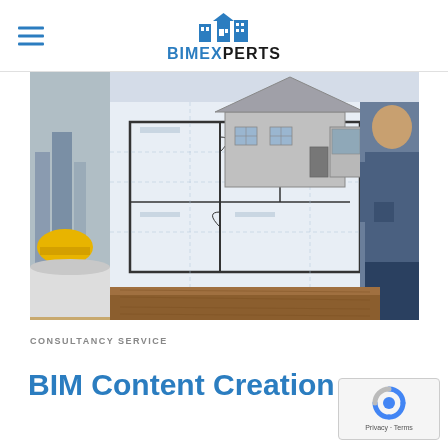BIMEXPERTS
[Figure (photo): Hero image showing architectural blueprints/floor plans spread on a table with a 3D model of a house in the background and a person in a blue jacket standing to the right. A yellow hard hat is visible in the lower left portion.]
CONSULTANCY SERVICE
BIM Content Creation